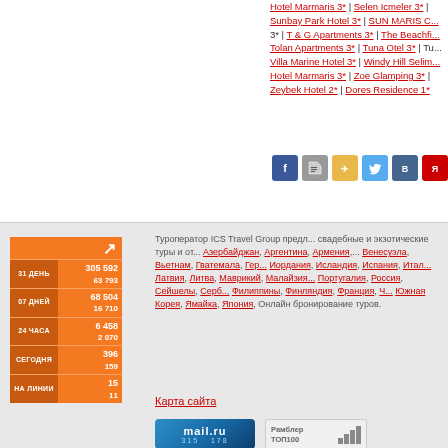Hotel Marmaris 3* | Selen Icmeler 3* | Sunbay Park Hotel 3* | SUN MARIS C... 3* | T & G Apartments 3* | The Beachf... Tolan Apartments 3* | Tuna Otel 3* | Tu... Villa Marine Hotel 3* | Windy Hill Selim... Hotel Marmaris 3* | Zoe Glamping 3* | Zeybek Hotel 2* | Dores Residence 1*
[Figure (infographic): Social media share buttons: Facebook, News, Tour aggregator, Twitter, VK, Yandex]
[Figure (infographic): Orange stats widget showing: 31 ДЕНЬ 305592/63793, 07 ДНЕЙ 68504/16710, 24 ЧАСА 6458/2070, СЕГОДНЯ 396/159, НА ЛИНИИ 15/11]
Туроператор ICS Travel Group предл... свадебные и экзотические туры и от... Азербайджан, Аргентина, Армения,... Венесуэла, Вьетнам, Гватемала, Гер... Иордания, Исландия, Испания, Итал... Латвия, Литва, Маврикий, Малайзия... Португалия, Россия, Сейшелы, Серб... Филиппины, Финляндия, Франция, Ч... Южная Корея, Ямайка, Япония, Онлайн бронирование туров.
Карта сайта
[Figure (logo): mail.ru banner with numbers 315 and 178]
[Figure (logo): Рамблер ТОП100 banner with bar chart]